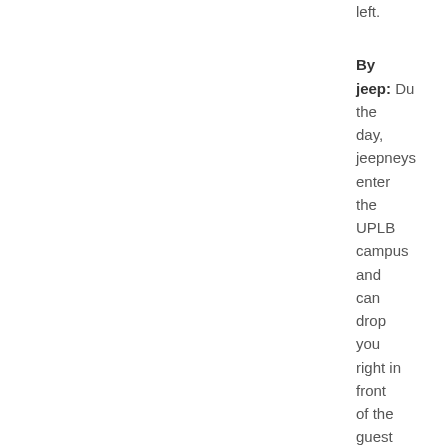left.
By
jeep: Du the day, jeepneys enter the UPLB campus and can drop you right in front of the guest house. Y can also